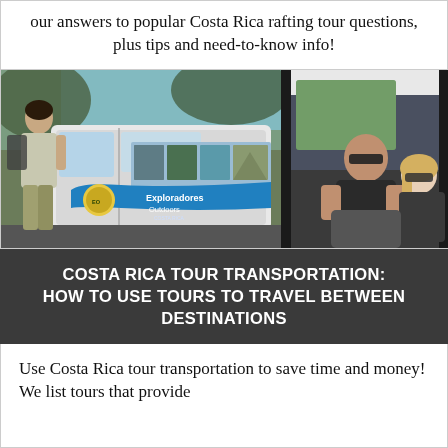our answers to popular Costa Rica rafting tour questions, plus tips and need-to-know info!
[Figure (photo): Left: A man in light clothing with a backpack standing next to a tour van with 'Exploradores Outdoors Costa Rica' branding and activity photos on the side. Right: A man and woman smiling inside a vehicle.]
COSTA RICA TOUR TRANSPORTATION: HOW TO USE TOURS TO TRAVEL BETWEEN DESTINATIONS
Use Costa Rica tour transportation to save time and money! We list tours that provide